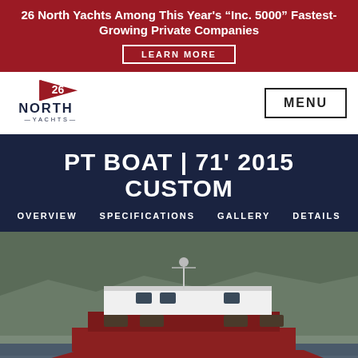26 North Yachts Among This Year's "Inc. 5000" Fastest-Growing Private Companies
LEARN MORE
[Figure (logo): 26 North Yachts logo with flag icon]
MENU
PT BOAT | 71' 2015 CUSTOM
OVERVIEW   SPECIFICATIONS   GALLERY   DETAILS
[Figure (photo): A large red and white custom yacht moored in calm water with rocky hillside in the background]